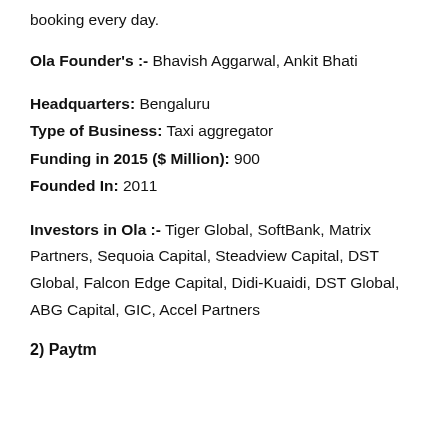booking every day.
Ola Founder's :- Bhavish Aggarwal, Ankit Bhati
Headquarters: Bengaluru
Type of Business: Taxi aggregator
Funding in 2015 ($ Million): 900
Founded In: 2011
Investors in Ola :- Tiger Global, SoftBank, Matrix Partners, Sequoia Capital, Steadview Capital, DST Global, Falcon Edge Capital, Didi-Kuaidi, DST Global, ABG Capital, GIC, Accel Partners
2) Paytm